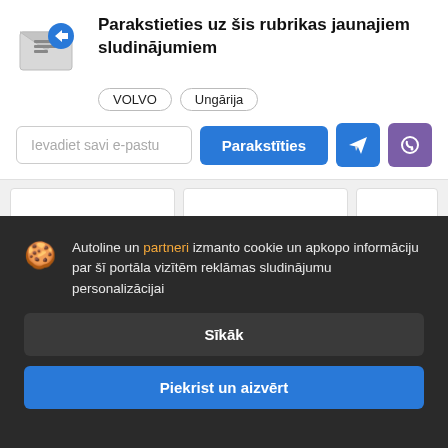[Figure (illustration): Envelope with document and blue Telegram notification icon]
Parakstieties uz šis rubrikas jaunajiem sludinājumiem
VOLVO   Ungārija
Ievadiet savi e-pastu
Parakstīties
[Figure (illustration): Telegram icon button and Viber icon button]
Autoline un partneri izmanto cookie un apkopo informāciju par šī portāla vizītēm reklāmas sludinājumu personalizācijai
Sīkāk
Piekrist un aizvērt
Volvo FMX 8x4 4x2 s nitro filterse
51
Pasūgzāzejs, Tilpums: 6 m³
Gads: 2015-08, Nobraukums: 360843 km